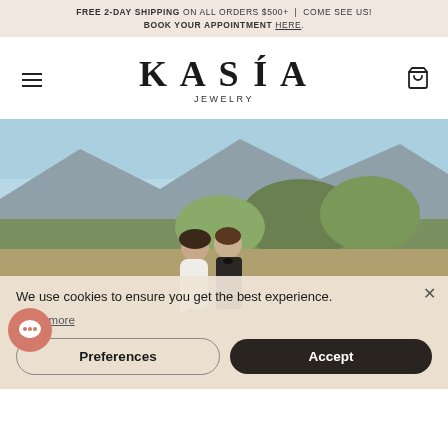FREE 2-DAY SHIPPING ON ALL ORDERS $500+ | COME SEE US! BOOK YOUR APPOINTMENT HERE.
KASIA JEWELRY
[Figure (photo): Outdoor wedding photo of a couple standing together with mountains and trees in the background, golden hour lighting]
We use cookies to ensure you get the best experience.
Learn more
Preferences
Accept